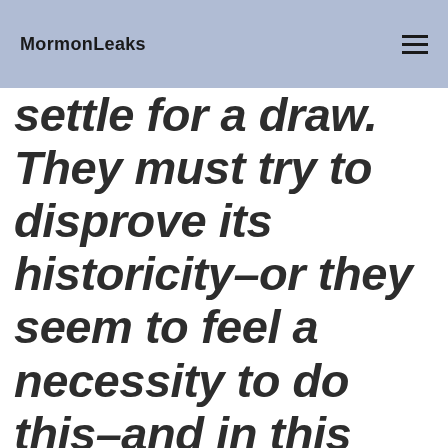MormonLeaks
settle for a draw. They must try to disprove its historicity–or they seem to feel a necessity to do this–and in this they are unsuccessful because even the secular evidence, viewed in its entirety, is too